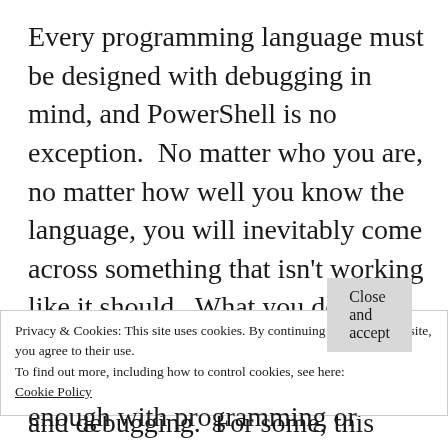Every programming language must be designed with debugging in mind, and PowerShell is no exception.  No matter who you are, no matter how well you know the language, you will inevitably come across something that isn't working like it should.  What you do in these situations depends on your comfort level with programming and debugging.  For some, this means adding lines to the code that produce extra output so that
Privacy & Cookies: This site uses cookies. By continuing to use this website, you agree to their use.
To find out more, including how to control cookies, see here:
Cookie Policy
Close and accept
enough with programming or debugging, so